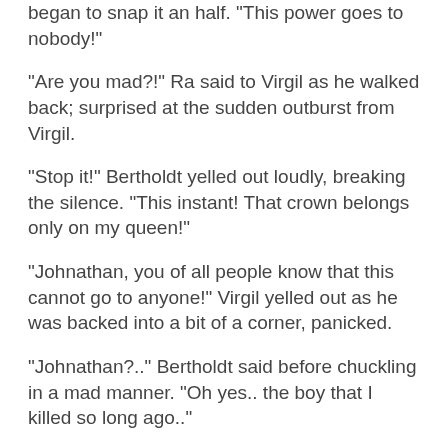began to snap it an half. "This power goes to nobody!"
"Are you mad?!" Ra said to Virgil as he walked back; surprised at the sudden outburst from Virgil.
"Stop it!" Bertholdt yelled out loudly, breaking the silence. "This instant! That crown belongs only on my queen!"
"Johnathan, you of all people know that this cannot go to anyone!" Virgil yelled out as he was backed into a bit of a corner, panicked.
"Johnathan?.." Bertholdt said before chuckling in a mad manner. "Oh yes.. the boy that I killed so long ago.."
"What?" Virgil asked with a raised eyebrow, having his expression fall.
Bertholdt put both hands on his face and began to groan loudly in pain as he proceeded to tear his own face off; destroying the illusion and revealing